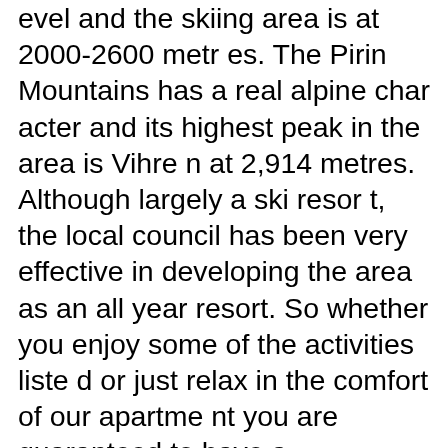evel and the skiing area is at 2000-2600 metres. The Pirin Mountains has a real alpine character and its highest peak in the area is Vihren at 2,914 metres. Although largely a ski resort, the local council has been very effective in developing the area as an all year resort. So whether you enjoy some of the activities listed or just relax in the comfort of our apartment you are guaranteed to have a memorable summer and winter break. The Pirin Mountains are rich in wildlife, flora and fauna. The valleys of the Struma and Mesta rivers ensure that the summer months are warm with the highest number of sunny days of any mountain area in the country. Pure water tarns and wildflowers abound in the highland valleys and the unique ecosystem is home to a number of rare plant species such as the Edelweiss. The beauty of the Pirin Mountains is why so many visitors are now experiencing them during the spring, summer and autumn months, with temperatures averaging 30 Celsius during the long summer months.